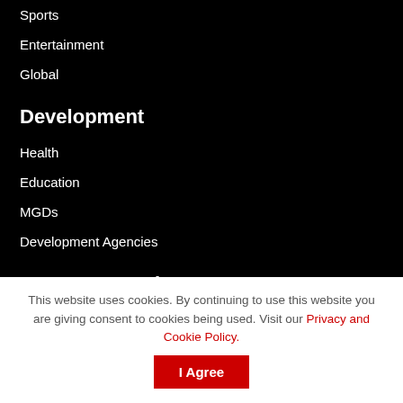Sports
Entertainment
Global
Development
Health
Education
MGDs
Development Agencies
Your Community
CDAs
LGAs
Projects
Community Champions
This website uses cookies. By continuing to use this website you are giving consent to cookies being used. Visit our Privacy and Cookie Policy.
I Agree